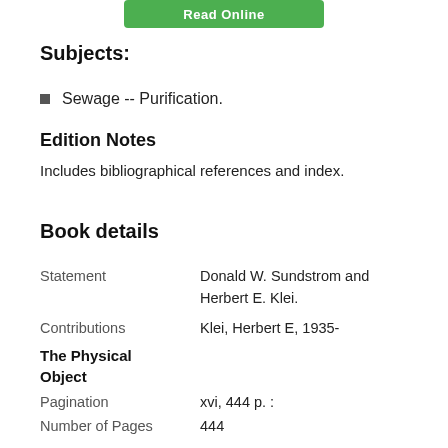[Figure (other): Green 'Read Online' button at top of page]
Subjects:
Sewage -- Purification.
Edition Notes
Includes bibliographical references and index.
Book details
| Field | Value |
| --- | --- |
| Statement | Donald W. Sundstrom and Herbert E. Klei. |
| Contributions | Klei, Herbert E, 1935- |
| The Physical Object |  |
| Pagination | xvi, 444 p. : |
| Number of Pages | 444 |